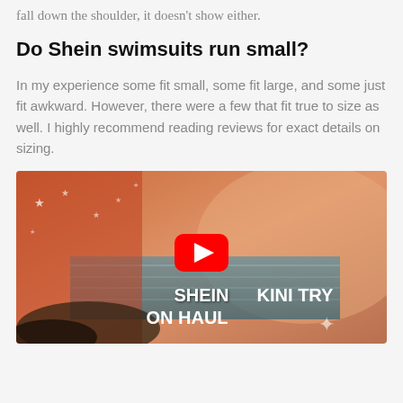fall down the shoulder, it doesn't show either.
Do Shein swimsuits run small?
In my experience some fit small, some fit large, and some just fit awkward. However, there were a few that fit true to size as well. I highly recommend reading reviews for exact details on sizing.
[Figure (screenshot): YouTube video thumbnail showing a beach scene with overlay text 'SHEIN BIKINI TRY ON HAUL' and the YouTube play button in the center.]